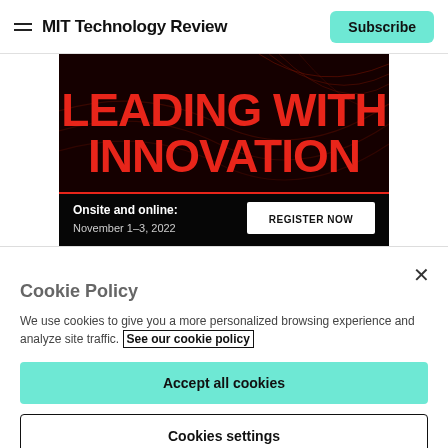MIT Technology Review | Subscribe
[Figure (illustration): Advertisement banner with dark red background and wave lines. Large red bold text reads 'LEADING WITH INNOVATION'. Bottom bar shows 'Onsite and online: November 1–3, 2022' and a 'REGISTER NOW' button.]
Cookie Policy
We use cookies to give you a more personalized browsing experience and analyze site traffic. See our cookie policy
Accept all cookies
Cookies settings